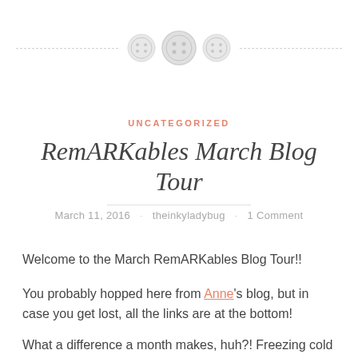[Figure (illustration): Decorative blog divider with three button icons (sewing buttons) centered on a dashed horizontal line]
UNCATEGORIZED
RemARKables March Blog Tour
March 11, 2016 · theinkyladybug · 1 Comment
Welcome to the March RemARKables Blog Tour!!
You probably hopped here from Anne's blog, but in case you get lost, all the links are at the bottom!
What a difference a month makes, huh?! Freezing cold to absolutely gorgeous outside 🙂 That was my inspiration